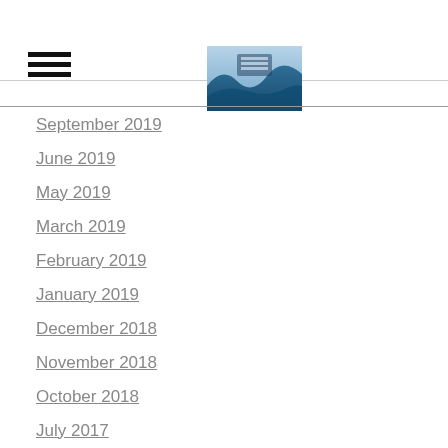[hamburger menu icon] [logo image]
September 2019
June 2019
May 2019
March 2019
February 2019
January 2019
December 2018
November 2018
October 2018
July 2017
June 2017
May 2017
April 2017
January 2017
October 2016
December 2015
November 2015
October 2015